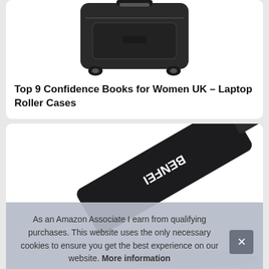[Figure (photo): Black wheeled laptop roller bag/suitcase, partially cropped, shown from the front at an angle on white background]
Top 9 Confidence Books for Women UK – Laptop Roller Cases
[Figure (photo): Close-up of a dark/black BENFEI branded device or cable adapter, shown at an angle against a dark background]
As an Amazon Associate I earn from qualifying purchases. This website uses the only necessary cookies to ensure you get the best experience on our website. More information